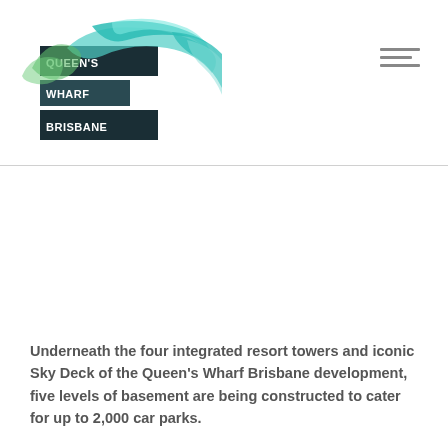[Figure (logo): Queen's Wharf Brisbane logo with teal/green ribbon swirl and text blocks]
Underneath the four integrated resort towers and iconic Sky Deck of the Queen's Wharf Brisbane development, five levels of basement are being constructed to cater for up to 2,000 car parks.